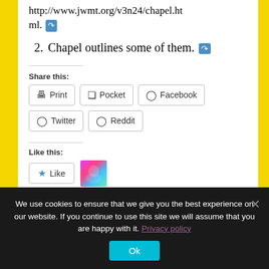http://www.jwmt.org/v3n24/chapel.html.
2. Chapel outlines some of them.
Share this:
Print  Pocket  Facebook  Twitter  Reddit
Like this:
Like
We use cookies to ensure that we give you the best experience on our website. If you continue to use this site we will assume that you are happy with it. Privacy policy
Ok